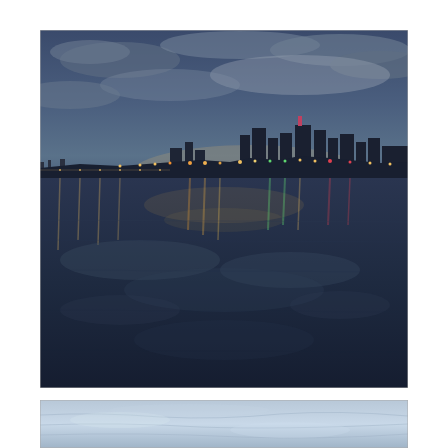[Figure (photo): Nighttime cityscape reflected on calm water. City skyline with illuminated skyscrapers on the right and lights along a waterfront pier stretching to the left. Sky has blue and purple-grey clouds with a bright glow near the horizon. City lights including green, orange, red, and white reflections shimmer on the still water surface in the foreground.]
[Figure (photo): Close-up view of snow or ice surface with light blue-grey tones, showing subtle wind-blown texture and undulations across the surface.]